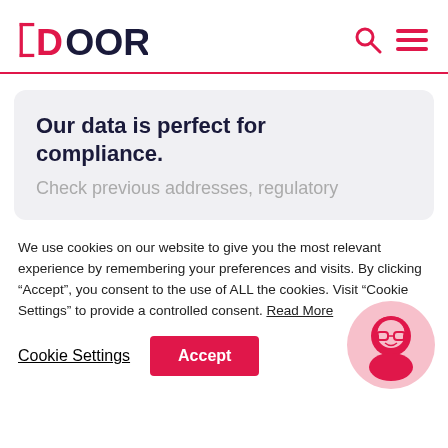DOORDA
Our data is perfect for compliance.
Check previous addresses, regulatory
We use cookies on our website to give you the most relevant experience by remembering your preferences and visits. By clicking “Accept”, you consent to the use of ALL the cookies. Visit “Cookie Settings” to provide a controlled consent. Read More
Cookie Settings
Accept